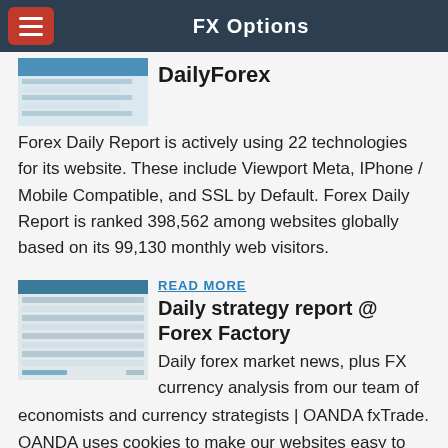FX Options
DailyForex
Forex Daily Report is actively using 22 technologies for its website. These include Viewport Meta, IPhone / Mobile Compatible, and SSL by Default. Forex Daily Report is ranked 398,562 among websites globally based on its 99,130 monthly web visitors.
READ MORE
Daily strategy report @ Forex Factory
Daily forex market news, plus FX currency analysis from our team of economists and currency strategists | OANDA fxTrade. OANDA uses cookies to make our websites easy to use and customized to our visitors. Cookies cannot be used to identify you personally. By visiting our website you consent to OANDA's use of cookies in